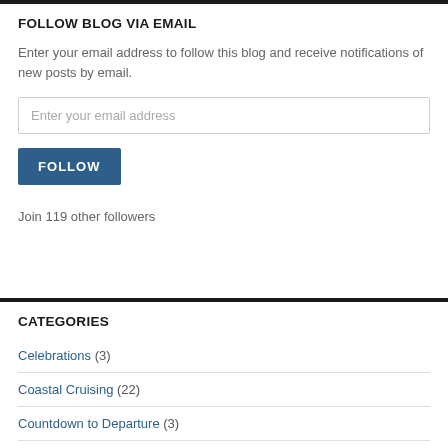FOLLOW BLOG VIA EMAIL
Enter your email address to follow this blog and receive notifications of new posts by email.
Enter your email address
FOLLOW
Join 119 other followers
CATEGORIES
Celebrations (3)
Coastal Cruising (22)
Countdown to Departure (3)
Discovering Home (11)